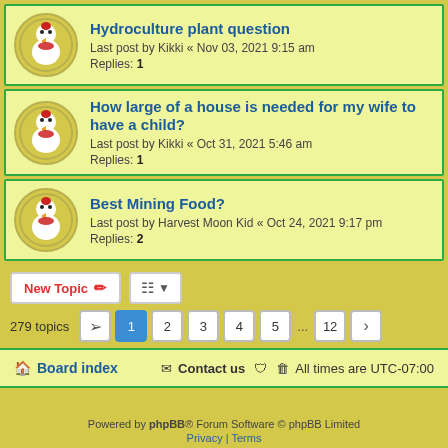Hydroculture plant question
Last post by Kikki « Nov 03, 2021 9:15 am
Replies: 1
How large of a house is needed for my wife to have a child?
Last post by Kikki « Oct 31, 2021 5:46 am
Replies: 1
Best Mining Food?
Last post by Harvest Moon Kid « Oct 24, 2021 9:17 pm
Replies: 2
New Topic | Sort | 279 topics | 1 2 3 4 5 ... 12 >
Board index | Contact us | All times are UTC-07:00
Powered by phpBB® Forum Software © phpBB Limited
Privacy | Terms